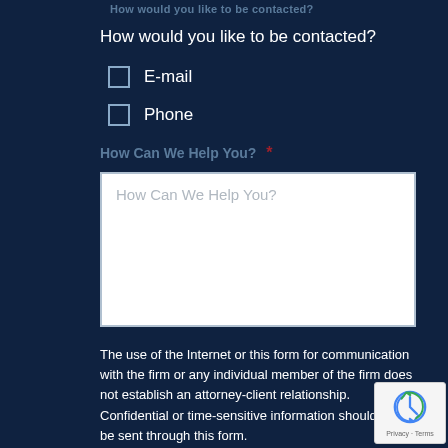How would you like to be contacted?
How would you like to be contacted?
E-mail
Phone
How Can We Help You? *
How Can We Help You?
The use of the Internet or this form for communication with the firm or any individual member of the firm does not establish an attorney-client relationship. Confidential or time-sensitive information should not be sent through this form.
Privacy Policy